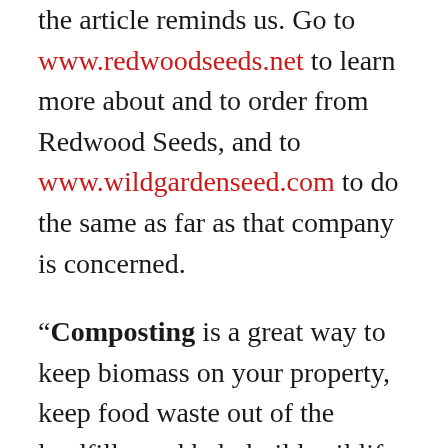the article reminds us. Go to www.redwoodseeds.net to learn more about and to order from Redwood Seeds, and to www.wildgardenseed.com to do the same as far as that company is concerned.

"Composting is a great way to keep biomass on your property, keep food waste out of the landfills, and help build soil life as microorganisms will be attracted to the bioactivity in the pile," we are told in a short piece titled